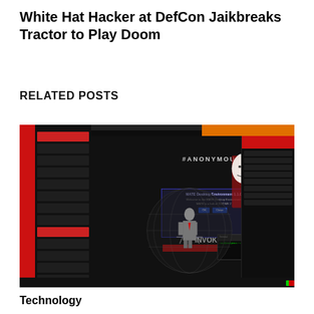White Hat Hacker at DefCon Jaikbreaks Tractor to Play Doom
RELATED POSTS
[Figure (screenshot): Screenshot of an Anonymous hacktivist desktop environment showing a dark themed Linux desktop with Guy Fawkes mask, globe with suited figure, MATE Desktop Environment dialog box, red sidebar with file manager, and text including #ANONYMOUS#, WE., IN, INVOKE]
Technology